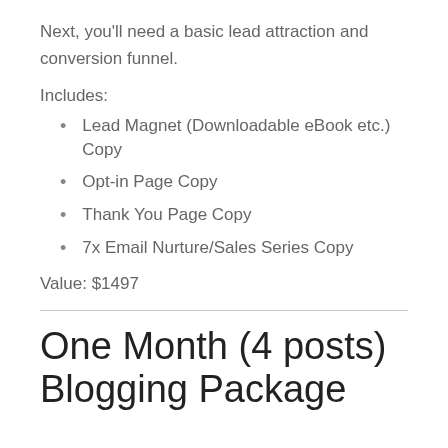Next, you'll need a basic lead attraction and conversion funnel.
Includes:
Lead Magnet (Downloadable eBook etc.) Copy
Opt-in Page Copy
Thank You Page Copy
7x Email Nurture/Sales Series Copy
Value: $1497
One Month (4 posts) Blogging Package